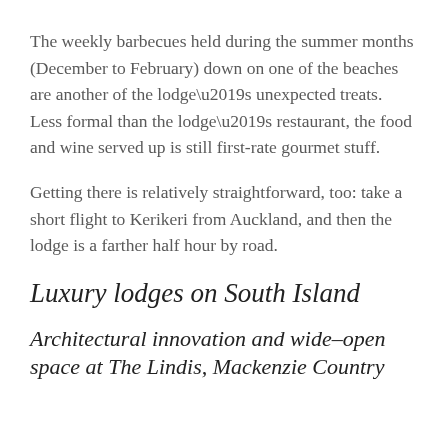The weekly barbecues held during the summer months (December to February) down on one of the beaches are another of the lodge’s unexpected treats. Less formal than the lodge’s restaurant, the food and wine served up is still first-rate gourmet stuff.
Getting there is relatively straightforward, too: take a short flight to Kerikeri from Auckland, and then the lodge is a farther half hour by road.
Luxury lodges on South Island
Architectural innovation and wide–open space at The Lindis, Mackenzie Country